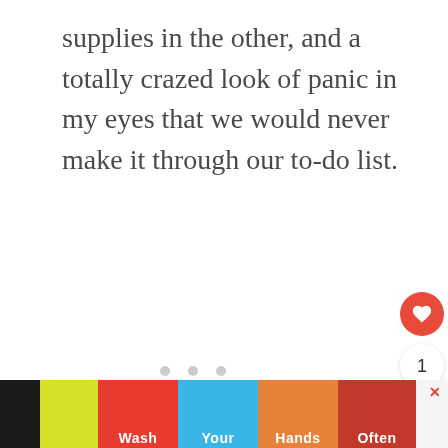supplies in the other, and a totally crazed look of panic in my eyes that we would never make it through our to-do list.
[Figure (other): A light gray placeholder image box with three gray dots below it indicating a loading carousel or image slider]
[Figure (infographic): Bottom advertisement banner showing a 'Wash Your Hands Often' public health message with hand-washing emoji icons on colored panels (red, blue, orange, dark red), plus close and social share buttons on the side]